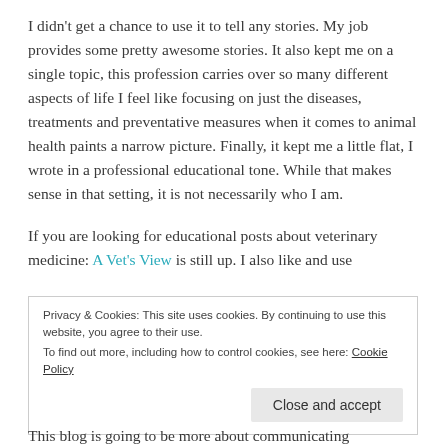I didn't get a chance to use it to tell any stories. My job provides some pretty awesome stories. It also kept me on a single topic, this profession carries over so many different aspects of life I feel like focusing on just the diseases, treatments and preventative measures when it comes to animal health paints a narrow picture. Finally, it kept me a little flat, I wrote in a professional educational tone. While that makes sense in that setting, it is not necessarily who I am.
If you are looking for educational posts about veterinary medicine: A Vet's View is still up. I also like and use
Privacy & Cookies: This site uses cookies. By continuing to use this website, you agree to their use.
To find out more, including how to control cookies, see here: Cookie Policy
Close and accept
This blog is going to be more about communicating